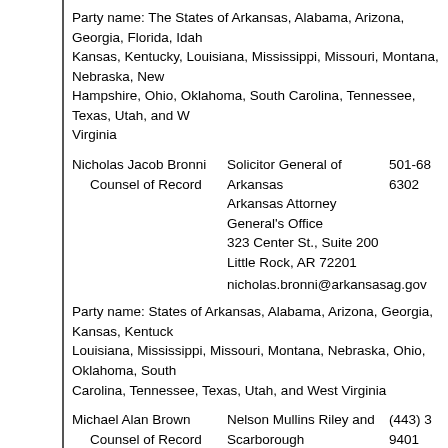Party name: The States of Arkansas, Alabama, Arizona, Georgia, Florida, Idaho, Kansas, Kentucky, Louisiana, Mississippi, Missouri, Montana, Nebraska, New Hampshire, Ohio, Oklahoma, South Carolina, Tennessee, Texas, Utah, and West Virginia
Nicholas Jacob Bronni
    Counsel of Record
Solicitor General of Arkansas
Arkansas Attorney General's Office
323 Center St., Suite 200
Little Rock, AR 72201
nicholas.bronni@arkansasag.gov
501-68
6302
Party name: States of Arkansas, Alabama, Arizona, Georgia, Kansas, Kentucky, Louisiana, Mississippi, Missouri, Montana, Nebraska, Ohio, Oklahoma, South Carolina, Tennessee, Texas, Utah, and West Virginia
Michael Alan Brown
    Counsel of Record
Nelson Mullins Riley and Scarborough LLP
100 S. Charles Street
Suite 1600
Baltimore, MD 21201
mike.brown@nelsonmullins.com
(443) 3
9401
Party name: Education and Constitutional Law Scholars